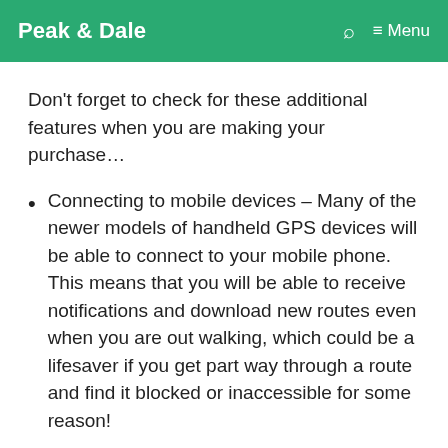Peak & Dale  🔍  ≡ Menu
Don't forget to check for these additional features when you are making your purchase…
Connecting to mobile devices – Many of the newer models of handheld GPS devices will be able to connect to your mobile phone. This means that you will be able to receive notifications and download new routes even when you are out walking, which could be a lifesaver if you get part way through a route and find it blocked or inaccessible for some reason!
External antenna – This is a feature that you will either love or hate. Admittedly, an